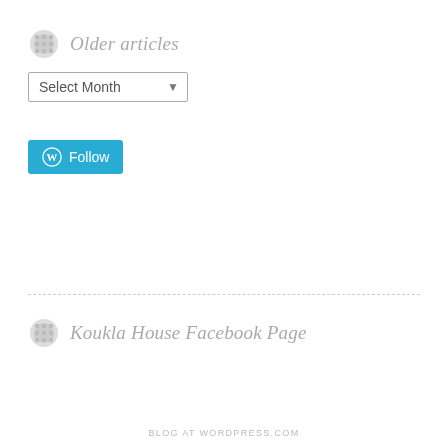Older articles
[Figure (screenshot): Select Month dropdown widget]
[Figure (screenshot): WordPress Follow button in teal/blue color]
Koukla House Facebook Page
BLOG AT WORDPRESS.COM